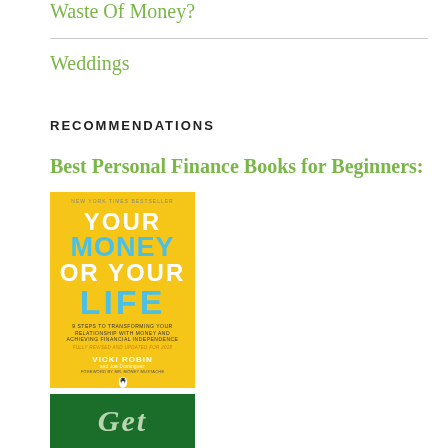Waste Of Money?
Weddings
RECOMMENDATIONS
Best Personal Finance Books for Beginners:
[Figure (photo): Book cover: 'Your Money Or Your Life' by Vicki Robin, yellow cover with bold white and blue text, New York Times bestseller, Penguin books]
[Figure (photo): Book cover partially visible, green background with cursive text]